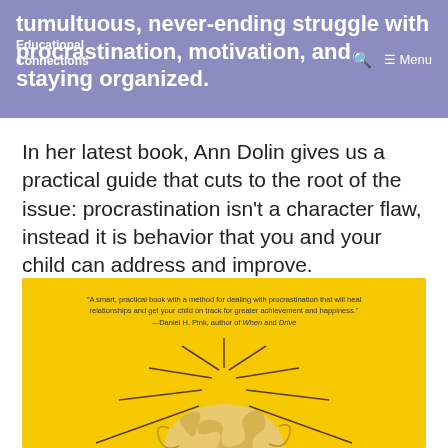tumultuous, never-ending struggle with procrastination, motivation, and staying organized.
In her latest book, Ann Dolin gives us a practical guide that cuts to the root of the issue: procrastination isn't a character flaw, instead it is behavior that you and your child can address and improve.
[Figure (photo): Book cover on yellow background with pencil shavings forming a lightbulb shape. Quote: 'A smart, practical book with a method for dealing with procrastination that will heal relationships and get your child on track for greater achievement and happiness.' —Daniel H. Pink, author of When and Drive]